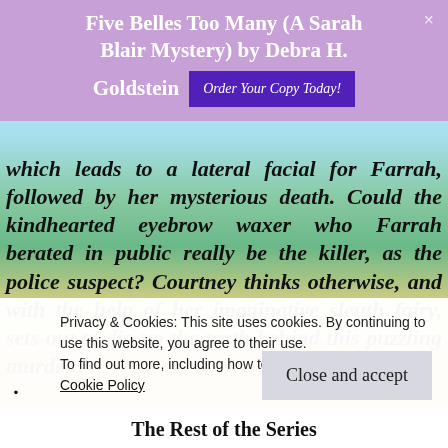Five Belles Too Many (A Sarah Blair Mystery) by Debra H. Goldstein   Order Your Copy Today!
which leads to a lateral facial for Farrah, followed by her mysterious death. Could the kindhearted eyebrow waxer who Farrah berated in public really be the killer, as the police suspect? Courtney thinks otherwise, and with the help of her imaginative sleuth fairy, sets out to dig up the truth behind this puzzling murder .
Privacy & Cookies: This site uses cookies. By continuing to use this website, you agree to their use.
To find out more, including how to control cookies, see here:
Cookie Policy
The Rest of the Series